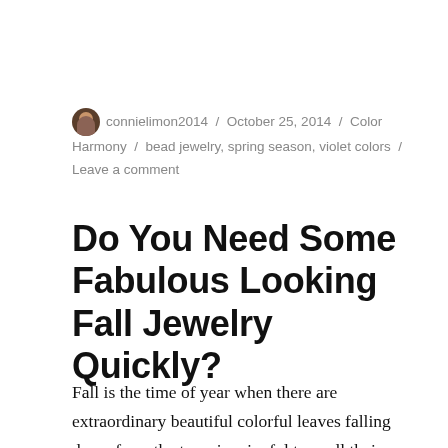connielimon2014 / October 25, 2014 / Color Harmony / bead jewelry, spring season, violet colors / Leave a comment
Do You Need Some Fabulous Looking Fall Jewelry Quickly?
Fall is the time of year when there are extraordinary beautiful colorful leaves falling down from the trees in a joyful tune all their